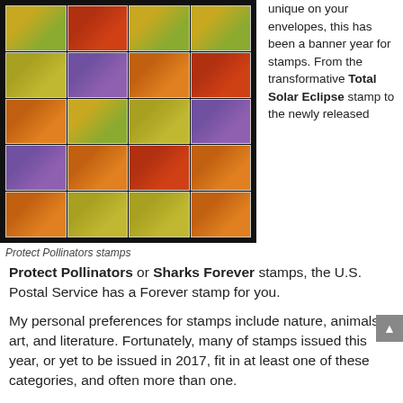[Figure (photo): Sheet of Protect Pollinators stamps showing bees, butterflies, and flowers on a dark background, displayed in a grid of 4 columns and 5 rows]
Protect Pollinators stamps
unique on your envelopes, this has been a banner year for stamps. From the transformative Total Solar Eclipse stamp to the newly released Protect Pollinators or Sharks Forever stamps, the U.S. Postal Service has a Forever stamp for you.
My personal preferences for stamps include nature, animals, art, and literature. Fortunately, many of stamps issued this year, or yet to be issued in 2017, fit in at least one of these categories, and often more than one.
Following four years of drought in California, our yard was bereft of the usual honeybees, bumblebees and